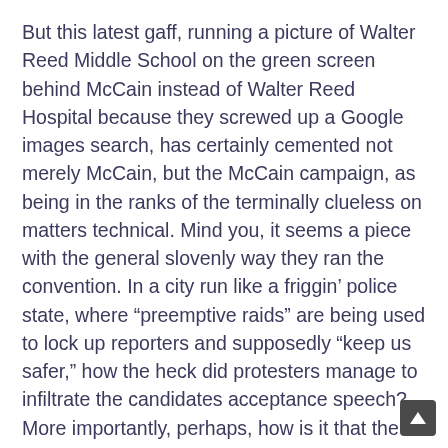But this latest gaff, running a picture of Walter Reed Middle School on the green screen behind McCain instead of Walter Reed Hospital because they screwed up a Google images search, has certainly cemented not merely McCain, but the McCain campaign, as being in the ranks of the terminally clueless on matters technical. Mind you, it seems a piece with the general slovenly way they ran the convention. In a city run like a friggin' police state, where “preemptive raids” are being used to lock up reporters and supposedly “keep us safer,” how the heck did protesters manage to infiltrate the candidates acceptance speech? More importantly, perhaps, how is it that the Dems could keep their own convention safer with less draconian security means?
Well, I shall leave the rather blatant messages on this as an exercise to the reader. While I hope to post about the Republican manipulation of the spineless wussies of the MSM